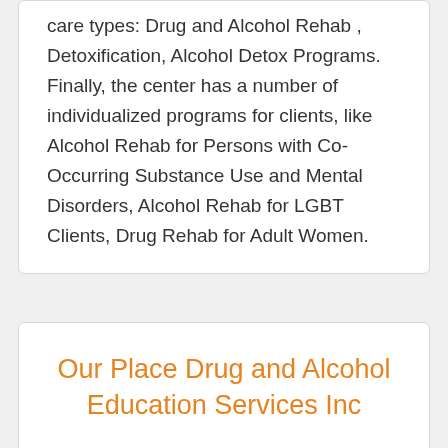care types: Drug and Alcohol Rehab , Detoxification, Alcohol Detox Programs. Finally, the center has a number of individualized programs for clients, like Alcohol Rehab for Persons with Co-Occurring Substance Use and Mental Disorders, Alcohol Rehab for LGBT Clients, Drug Rehab for Adult Women.
Our Place Drug and Alcohol Education Services Inc
Our Place Drug and Alcohol Education Services Inc is based in New Albany, Indiana